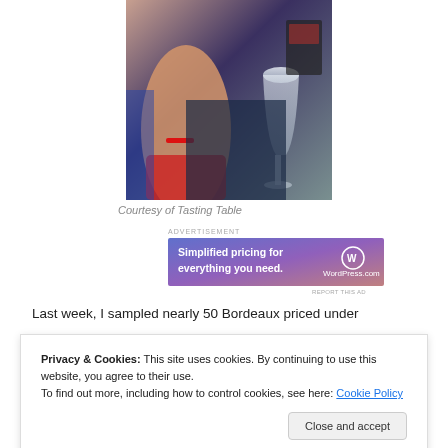[Figure (photo): A woman holding a wine glass at what appears to be a wine tasting event, wearing a red outfit, with brochures visible in background.]
Courtesy of Tasting Table
[Figure (infographic): WordPress.com advertisement banner: 'Simplified pricing for everything you need.']
Last week, I sampled nearly 50 Bordeaux priced under
Privacy & Cookies: This site uses cookies. By continuing to use this website, you agree to their use.
To find out more, including how to control cookies, see here: Cookie Policy
as more fruit-forward (and affordable) offerings—like those